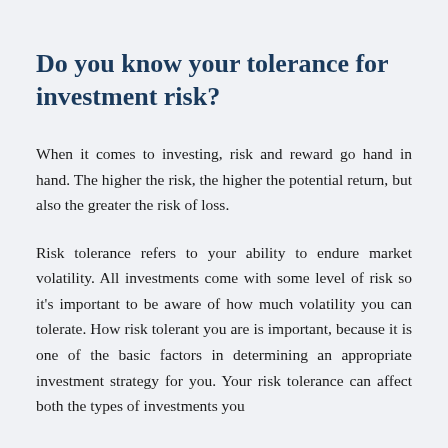Do you know your tolerance for investment risk?
When it comes to investing, risk and reward go hand in hand. The higher the risk, the higher the potential return, but also the greater the risk of loss.
Risk tolerance refers to your ability to endure market volatility. All investments come with some level of risk so it's important to be aware of how much volatility you can tolerate. How risk tolerant you are is important, because it is one of the basic factors in determining an appropriate investment strategy for you. Your risk tolerance can affect both the types of investments you